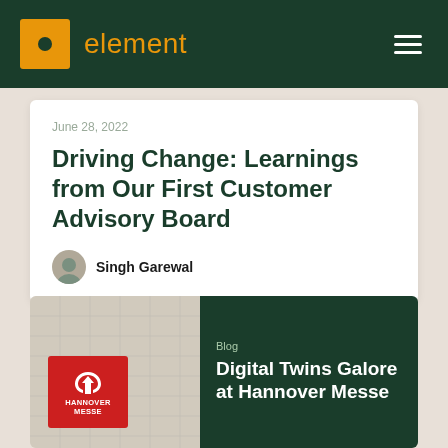element
June 28, 2022
Driving Change: Learnings from Our First Customer Advisory Board
Singh Garewal
Blog
Digital Twins Galore at Hannover Messe